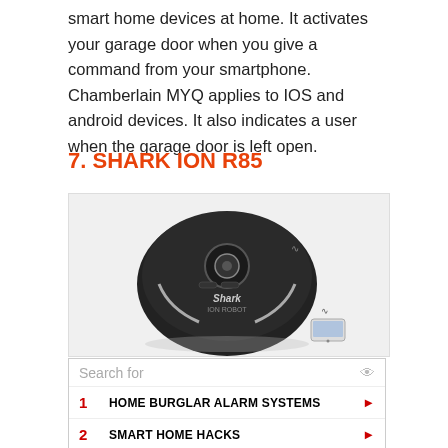smart home devices at home. It activates your garage door when you give a command from your smartphone. Chamberlain MYQ applies to IOS and android devices. It also indicates a user when the garage door is left open.
7. SHARK ION R85
[Figure (photo): Product photo of the Shark ION R85 robot vacuum cleaner — a circular black robotic vacuum with control buttons on top, the Shark brand logo visible, shown alongside a small smartphone.]
Search for
1 HOME BURGLAR ALARM SYSTEMS
2 SMART HOME HACKS